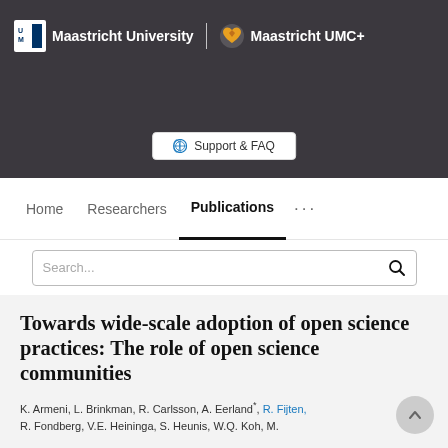[Figure (screenshot): Maastricht University and Maastricht UMC+ hero banner with Support & FAQ button]
Home   Researchers   Publications   ...
Search...
Towards wide-scale adoption of open science practices: The role of open science communities
K. Armeni, L. Brinkman, R. Carlsson, A. Eerland*, R. Fijten, R. Fondberg, V.E. Heininga, S. Heunis, W.Q. Koh, M.